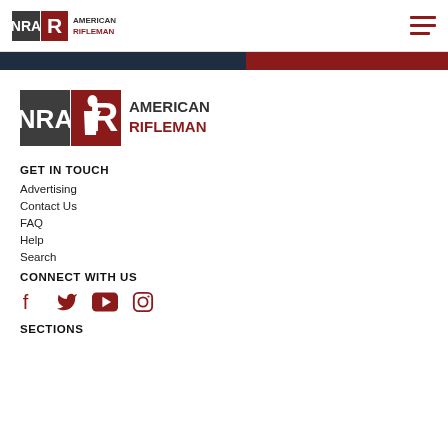NRA American Rifleman
[Figure (logo): NRA American Rifleman logo - large version in footer area]
GET IN TOUCH
Advertising
Contact Us
FAQ
Help
Search
CONNECT WITH US
[Figure (illustration): Social media icons: Facebook, Twitter, YouTube, Instagram in red]
SECTIONS